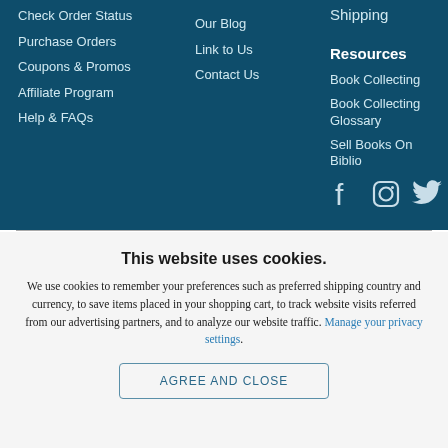Check Order Status
Purchase Orders
Coupons & Promos
Affiliate Program
Help & FAQs
Our Blog
Link to Us
Contact Us
Shipping
Resources
Book Collecting
Book Collecting Glossary
Sell Books On Biblio
[Figure (illustration): Social media icons: Facebook, Instagram, Twitter]
This website uses cookies.
We use cookies to remember your preferences such as preferred shipping country and currency, to save items placed in your shopping cart, to track website visits referred from our advertising partners, and to analyze our website traffic. Manage your privacy settings.
AGREE AND CLOSE